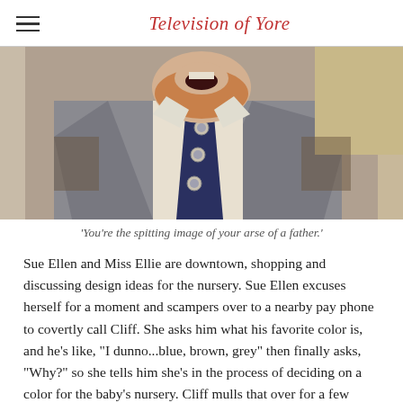Television of Yore
[Figure (photo): Man with a reddish beard wearing a grey suit with a dark navy tie with decorative pins/brooches, laughing, cropped at chest/neck level, vintage photo style]
'You're the spitting image of your arse of a father.'
Sue Ellen and Miss Ellie are downtown, shopping and discussing design ideas for the nursery. Sue Ellen excuses herself for a moment and scampers over to a nearby pay phone to covertly call Cliff. She asks him what his favorite color is, and he's like, "I dunno...blue, brown, grey" then finally asks, "Why?" so she tells him she's in the process of deciding on a color for the baby's nursery. Cliff mulls that over for a few seconds and decisively